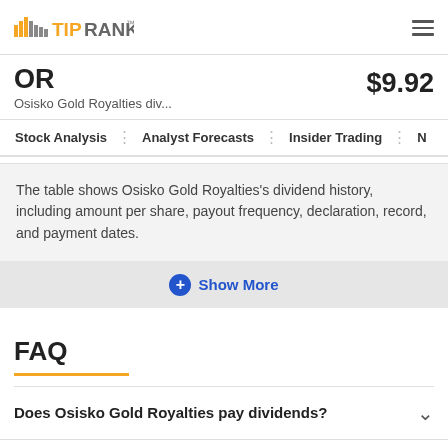TipRanks
OR  $9.92
Osisko Gold Royalties div...
Stock Analysis  |  Analyst Forecasts  |  Insider Trading  |  N
The table shows Osisko Gold Royalties's dividend history, including amount per share, payout frequency, declaration, record, and payment dates.
+ Show More
FAQ
Does Osisko Gold Royalties pay dividends?
How much is Osisko Gold Royalties dividend?